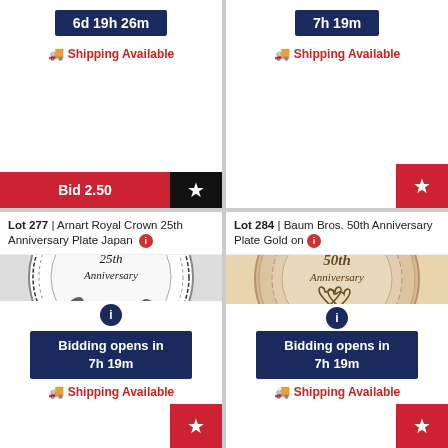6d 19h 26m
Shipping Available
Bid 2.50
7h 19m
Shipping Available
Lot 277 | Arnart Royal Crown 25th Anniversary Plate Japan
[Figure (photo): White porcelain plate with black floral design and '25th Anniversary' text in center]
Bidding opens in 7h 19m
Shipping Available
Lot 284 | Baum Bros. 50th Anniversary Plate Gold on
[Figure (photo): Beige/cream colored plate with gold '50th Anniversary' text and heart design in center]
Bidding opens in 7h 19m
Shipping Available